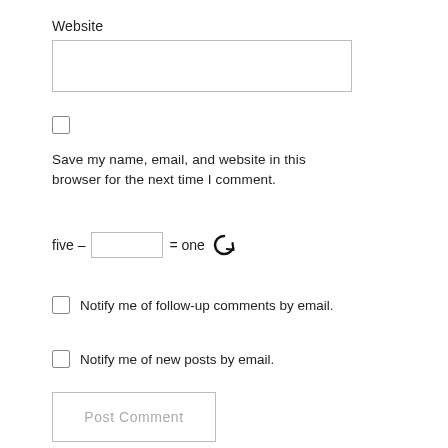Website
[Figure (other): Text input field for website URL]
[Figure (other): Checkbox (unchecked)]
Save my name, email, and website in this browser for the next time I comment.
five – [input box] = one [refresh icon]
Notify me of follow-up comments by email.
Notify me of new posts by email.
[Figure (other): Post Comment button]